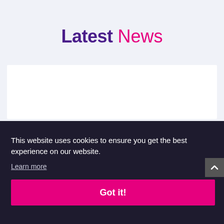Latest News
[Figure (other): White card / content area placeholder]
This website uses cookies to ensure you get the best experience on our website.
Learn more
Got it!